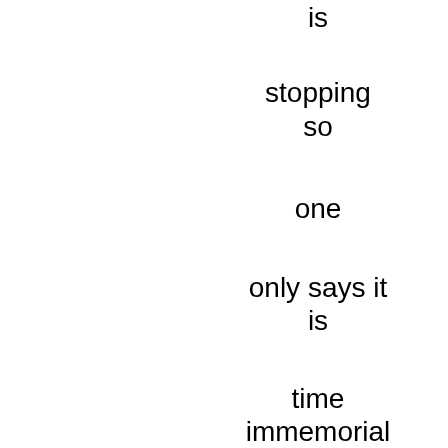is

stopping
so

one

only says it
is

time
immemorial
in a way

one

remembers